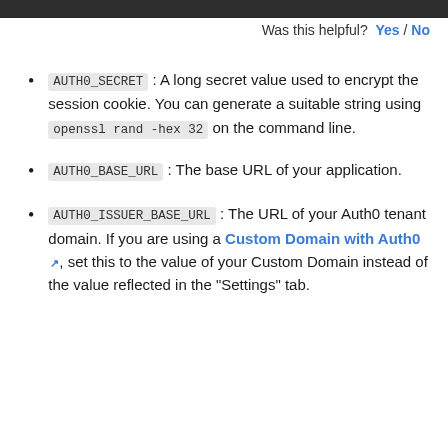[dark header bar]
Was this helpful? Yes / No
AUTH0_SECRET : A long secret value used to encrypt the session cookie. You can generate a suitable string using openssl rand -hex 32 on the command line.
AUTH0_BASE_URL : The base URL of your application.
AUTH0_ISSUER_BASE_URL : The URL of your Auth0 tenant domain. If you are using a Custom Domain with Auth0, set this to the value of your Custom Domain instead of the value reflected in the "Settings" tab.